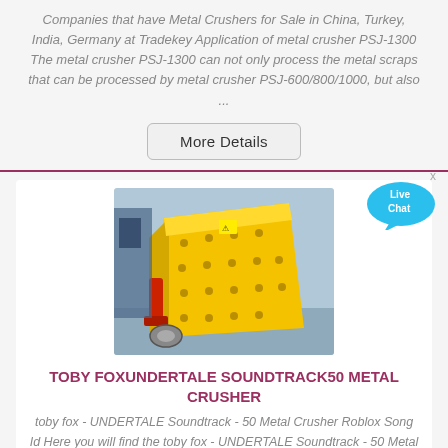Companies that have Metal Crushers for Sale in China, Turkey, India, Germany at Tradekey Application of metal crusher PSJ-1300 The metal crusher PSJ-1300 can not only process the metal scraps that can be processed by metal crusher PSJ-600/800/1000, but also ...
More Details
[Figure (photo): Yellow industrial metal crusher machine (PSJ series) photographed indoors in a warehouse/factory setting]
TOBY FOXUNDERTALE SOUNDTRACK50 METAL CRUSHER
toby fox - UNDERTALE Soundtrack - 50 Metal Crusher Roblox Song Id Here you will find the toby fox - UNDERTALE Soundtrack - 50 Metal ...